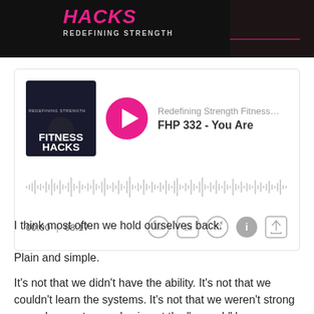[Figure (photo): Dark banner with HACKS title in pink italic text, REDEFINING STRENGTH subtitle, and a person in athletic wear]
[Figure (screenshot): Podcast audio player card showing Redefining Strength Fitness Hacks podcast thumbnail, pink play button, title FHP 332 - You Are, waveform, time display 00:00 | 08:17, and playback controls]
I think most often we hold ourselves back.
Plain and simple.
It’s not that we didn’t have the ability. It’s not that we couldn’t learn the systems. It’s not that we weren’t strong enough, smart enough…insert the “enough” here….